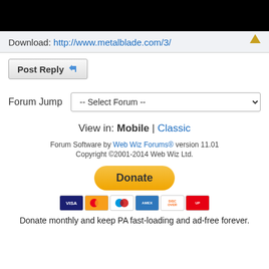[Figure (screenshot): Black banner/image area at top of forum post]
Download: http://www.metalblade.com/3/
Post Reply
Forum Jump  -- Select Forum --
View in: Mobile | Classic
Forum Software by Web Wiz Forums® version 11.01
Copyright ©2001-2014 Web Wiz Ltd.
[Figure (infographic): PayPal Donate button (yellow rounded rectangle) with payment card icons below (Visa, Mastercard, Maestro, Amex, Discover, UnionPay)]
Donate monthly and keep PA fast-loading and ad-free forever.